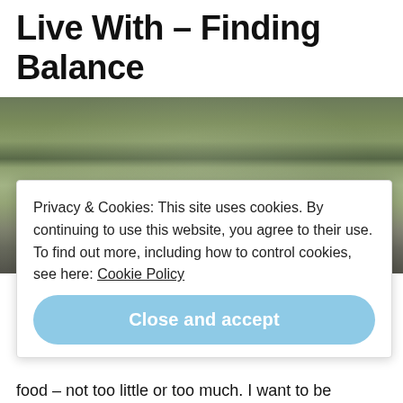Figuring Out What I Can Live With – Finding Balance
[Figure (photo): A stack of balanced zen stones on a metal post with a blurred green/grey outdoor background (path and trees).]
Privacy & Cookies: This site uses cookies. By continuing to use this website, you agree to their use.
To find out more, including how to control cookies, see here: Cookie Policy
Close and accept
food – not too little or too much. I want to be